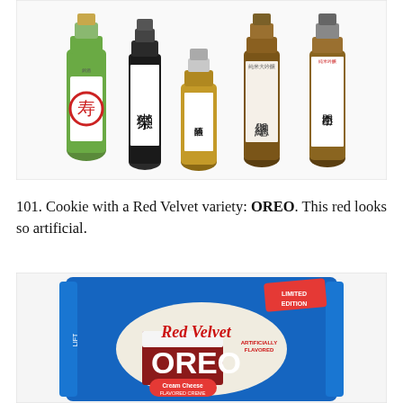[Figure (photo): Five Japanese sake bottles of varying sizes and styles arranged side by side against a white background.]
101. Cookie with a Red Velvet variety: OREO. This red looks so artificial.
[Figure (photo): Package of Limited Edition Red Velvet OREO cookies with cream cheese flavored creme, blue packaging with red velvet cake image.]